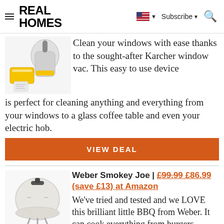REAL HOMES
[Figure (photo): Karcher window vac product image with accessories]
Clean your windows with ease thanks to the sought-after Karcher window vac. This easy to use device is perfect for cleaning anything and everything from your windows to a glass coffee table and even your electric hob.
VIEW DEAL
[Figure (photo): Weber Smokey Joe BBQ grill product image]
Weber Smokey Joe | £99.99 £86.99 (save £13) at Amazon
We've tried and tested and we LOVE this brilliant little BBQ from Weber. It can cook everything from burgers